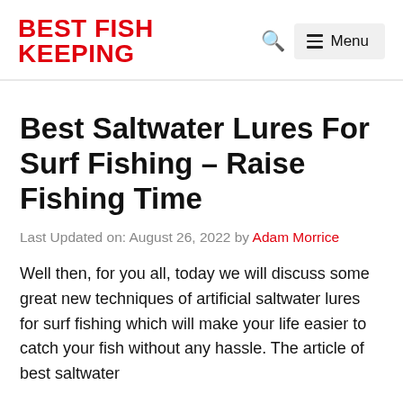BEST FISH KEEPING
Best Saltwater Lures For Surf Fishing – Raise Fishing Time
Last Updated on: August 26, 2022 by Adam Morrice
Well then, for you all, today we will discuss some great new techniques of artificial saltwater lures for surf fishing which will make your life easier to catch your fish without any hassle. The article of best saltwater